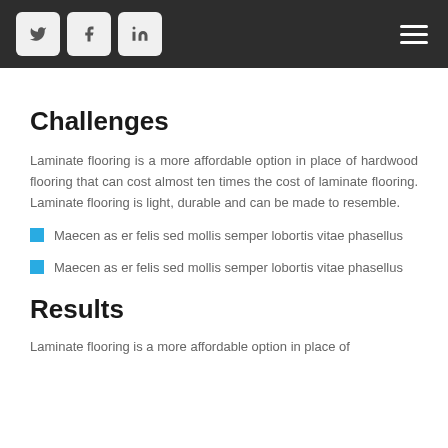Social icons (Twitter, Facebook, LinkedIn) and hamburger menu
Challenges
Laminate flooring is a more affordable option in place of hardwood flooring that can cost almost ten times the cost of laminate flooring. Laminate flooring is light, durable and can be made to resemble.
Maecen as er felis sed mollis semper lobortis vitae phasellus
Maecen as er felis sed mollis semper lobortis vitae phasellus
Results
Laminate flooring is a more affordable option in place of